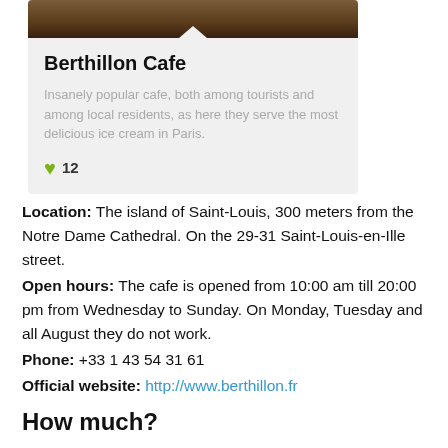[Figure (photo): Top portion of a cafe/restaurant photo showing a dark interior, partially visible]
Berthillon Cafe
Insanely popular cafe, both among tourists and among local residents, as here they serve the most delicious ice cream in Paris.
♥ 12
Location: The island of Saint-Louis, 300 meters from the Notre Dame Cathedral. On the 29-31 Saint-Louis-en-Ille street.
Open hours: The cafe is opened from 10:00 am till 20:00 pm from Wednesday to Sunday. On Monday, Tuesday and all August they do not work.
Phone: +33 1 43 54 31 61
Official website: http://www.berthillon.fr
How much?